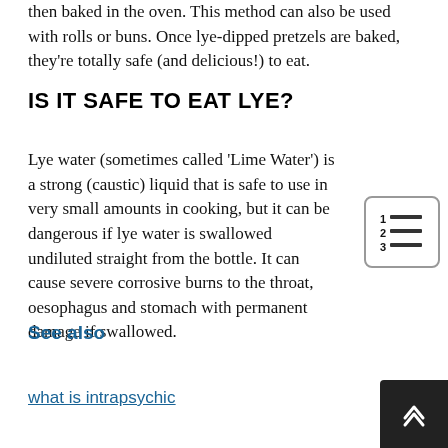then baked in the oven. This method can also be used with rolls or buns. Once lye-dipped pretzels are baked, they're totally safe (and delicious!) to eat.
IS IT SAFE TO EAT LYE?
Lye water (sometimes called 'Lime Water') is a strong (caustic) liquid that is safe to use in very small amounts in cooking, but it can be dangerous if lye water is swallowed undiluted straight from the bottle. It can cause severe corrosive burns to the throat, oesophagus and stomach with permanent damage if swallowed.
[Figure (infographic): Table of contents icon showing numbered list with three lines]
See also
what is intrapsychic